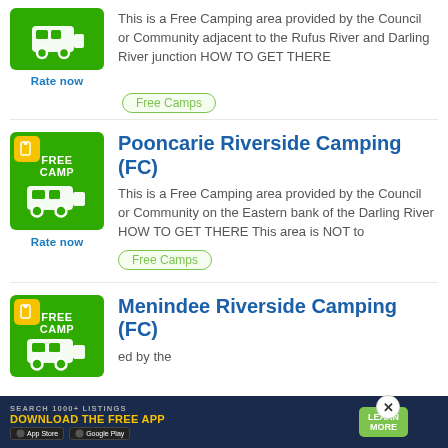This is a Free Camping area provided by the Council or Community adjacent to the Rufus River and Darling River junction HOW TO GET THERE
Free Camps
Pooncarie Riverside Camping (FC)
Rate now
This is a Free Camping area provided by the Council or Community on the Eastern bank of the Darling River HOW TO GET THERE This area is NOT to
Free Camps
Menindee Riverside Camping (FC)
Rate now
ed by the